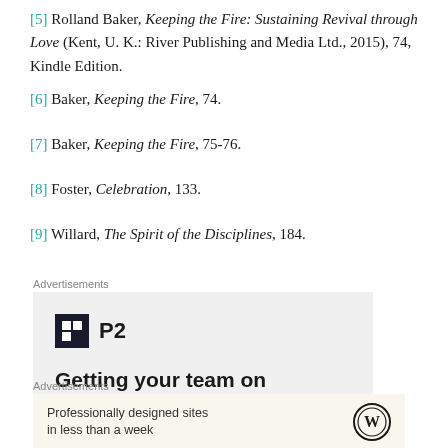[5] Rolland Baker, Keeping the Fire: Sustaining Revival through Love (Kent, U. K.: River Publishing and Media Ltd., 2015), 74, Kindle Edition.
[6] Baker, Keeping the Fire, 74.
[7] Baker, Keeping the Fire, 75-76.
[8] Foster, Celebration, 133.
[9] Willard, The Spirit of the Disciplines, 184.
[Figure (infographic): Advertisement banner for P2 with dark square logo and bold text: Getting your team on the same page is easy.]
[Figure (infographic): Advertisement banner for WordPress: Professionally designed sites in less than a week, with WordPress logo.]